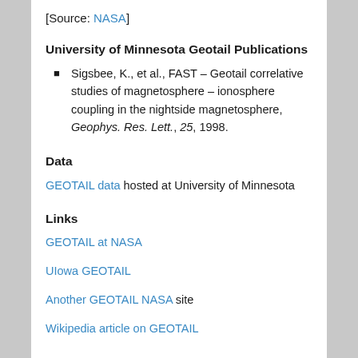[Source: NASA]
University of Minnesota Geotail Publications
Sigsbee, K., et al., FAST – Geotail correlative studies of magnetosphere – ionosphere coupling in the nightside magnetosphere, Geophys. Res. Lett., 25, 1998.
Data
GEOTAIL data hosted at University of Minnesota
Links
GEOTAIL at NASA
UIowa GEOTAIL
Another GEOTAIL NASA site
Wikipedia article on GEOTAIL